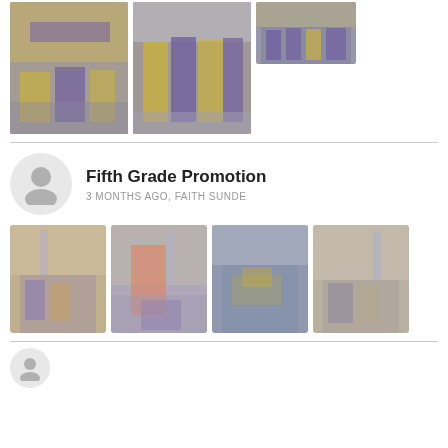[Figure (photo): Three photos of students in graduation gowns (purple and gold) at an outdoor ceremony]
Fifth Grade Promotion
3 MONTHS AGO, FAITH SUNDE
[Figure (photo): Four photos from Fifth Grade Promotion event showing students, speakers, and ceremony outdoors]